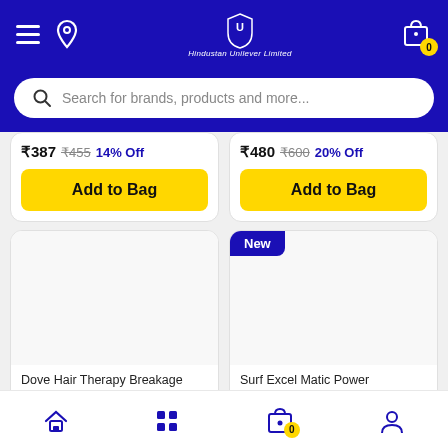Hindustan Unilever Limited — App header with hamburger menu, location icon, logo, and cart (0)
Search for brands, products and more...
₹387  ₹455  14% Off
Add to Bag
₹480  ₹600  20% Off
Add to Bag
[Figure (screenshot): Product card placeholder image for Dove Hair Therapy Breakage Repair Leave On]
Dove Hair Therapy Breakage Repair Leave On ...
[Figure (screenshot): Product card with New badge for Surf Excel Matic Power Concentrate (500ml)]
Surf Excel Matic Power Concentrate (500ml),...
Bottom navigation: Home, Categories, Cart (0), Profile